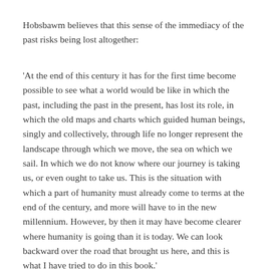Hobsbawm believes that this sense of the immediacy of the past risks being lost altogether:
'At the end of this century it has for the first time become possible to see what a world would be like in which the past, including the past in the present, has lost its role, in which the old maps and charts which guided human beings, singly and collectively, through life no longer represent the landscape through which we move, the sea on which we sail. In which we do not know where our journey is taking us, or even ought to take us. This is the situation with which a part of humanity must already come to terms at the end of the century, and more will have to in the new millennium. However, by then it may have become clearer where humanity is going than it is today. We can look backward over the road that brought us here, and this is what I have tried to do in this book.'